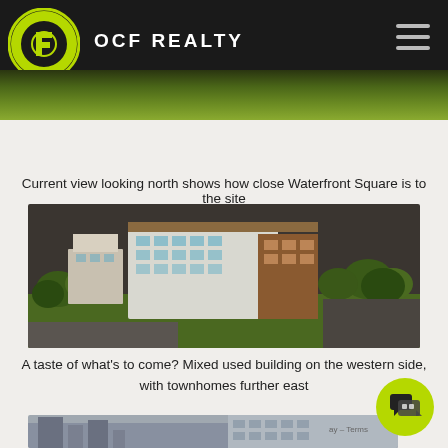OCF REALTY
[Figure (photo): OCF Realty logo - circular logo with letter F inside, green and black color scheme, on dark header bar with hamburger menu icon]
Current view looking north shows how close Waterfront Square is to the site
[Figure (photo): Aerial rendering of mixed-use building development with townhomes, showing green trees surrounding a multi-story building complex]
A taste of what's to come? Mixed used building on the western side, with townhomes further east
[Figure (photo): Partial view of urban waterfront city buildings, partially visible at the bottom of the page]